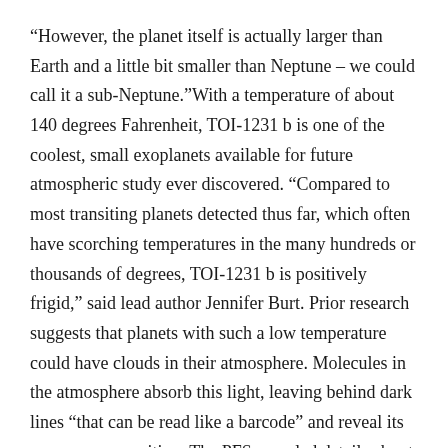“However, the planet itself is actually larger than Earth and a little bit smaller than Neptune – we could call it a sub-Neptune.”With a temperature of about 140 degrees Fahrenheit, TOI-1231 b is one of the coolest, small exoplanets available for future atmospheric study ever discovered. “Compared to most transiting planets detected thus far, which often have scorching temperatures in the many hundreds or thousands of degrees, TOI-1231 b is positively frigid,” said lead author Jennifer Burt. Prior research suggests that planets with such a low temperature could have clouds in their atmosphere. Molecules in the atmosphere absorb this light, leaving behind dark lines “that can be read like a barcode” and reveal its gaseous composition. The PFS revealed details about the mass and orbits of the exoplanet by observing its gravitational influence on its host star.
In just 24 Earth days, TOI-1231 b completes an orbit of its nearby M dwarf star NLTT 24399, also known as a red dwarf, the most common type of star in the Milky Way. NLTT 24399 is smaller, lighter and dimmer than our sun, which actually made detecting the new exoplanet